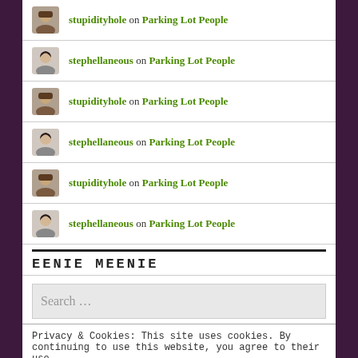stupidityhole on Parking Lot People
stephellaneous on Parking Lot People
stupidityhole on Parking Lot People
stephellaneous on Parking Lot People
stupidityhole on Parking Lot People
stephellaneous on Parking Lot People
EENIE MEENIE
Search …
Privacy & Cookies: This site uses cookies. By continuing to use this website, you agree to their use.
To find out more, including how to control cookies, see here: Cookie Policy
Close and accept
STEPHELLANEMAIL